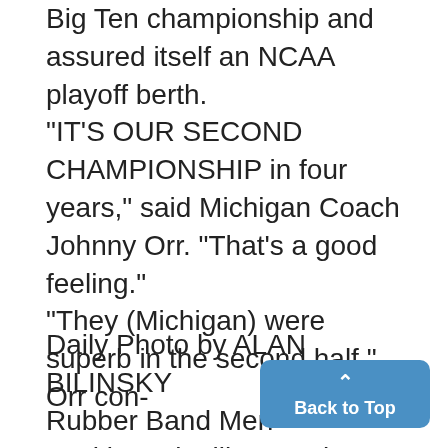Big Ten championship and assured itself an NCAA playoff berth. "IT'S OUR SECOND CHAMPIONSHIP in four years," said Michigan Coach Johnny Orr. "That's a good feeling." "They (Michigan) were superb in the second half," Orr con-
Daily Photo by ALAN BILINSKY
Rubber Band Men
Looking a lot like Gumby's, Joh... (left) and James Morse of the H...
Back to Top